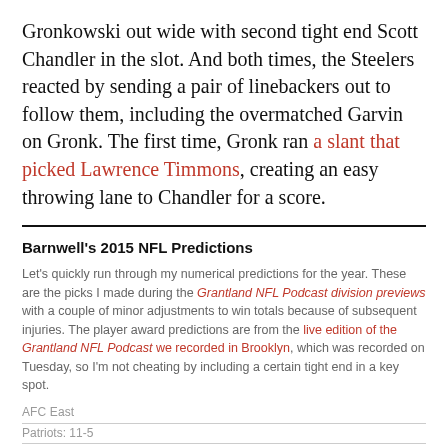Gronkowski out wide with second tight end Scott Chandler in the slot. And both times, the Steelers reacted by sending a pair of linebackers out to follow them, including the overmatched Garvin on Gronk. The first time, Gronk ran a slant that picked Lawrence Timmons, creating an easy throwing lane to Chandler for a score.
Barnwell's 2015 NFL Predictions
Let's quickly run through my numerical predictions for the year. These are the picks I made during the Grantland NFL Podcast division previews with a couple of minor adjustments to win totals because of subsequent injuries. The player award predictions are from the live edition of the Grantland NFL Podcast we recorded in Brooklyn, which was recorded on Tuesday, so I'm not cheating by including a certain tight end in a key spot.
AFC East
Patriots: 11-5